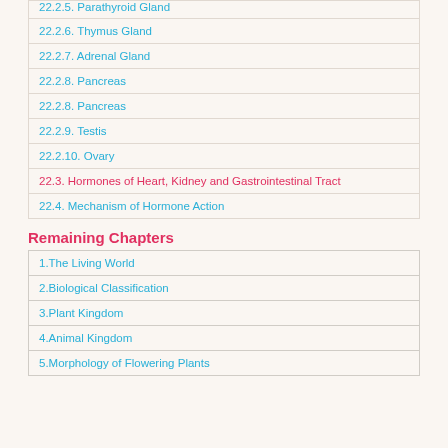22.2.5. Parathyroid Gland
22.2.6. Thymus Gland
22.2.7. Adrenal Gland
22.2.8. Pancreas
22.2.8. Pancreas
22.2.9. Testis
22.2.10. Ovary
22.3. Hormones of Heart, Kidney and Gastrointestinal Tract
22.4. Mechanism of Hormone Action
Remaining Chapters
1.The Living World
2.Biological Classification
3.Plant Kingdom
4.Animal Kingdom
5.Morphology of Flowering Plants